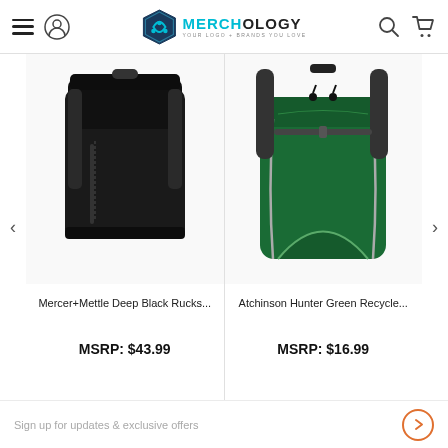MERCHOLOGY — YOUR LOGO + BRANDS YOU LOVE
[Figure (photo): Black Mercer+Mettle rucksack/backpack on white background]
Mercer+Mettle Deep Black Rucks...
MSRP: $43.99
[Figure (photo): Atchinson Hunter Green recycled backpack on white background]
Atchinson Hunter Green Recycle...
MSRP: $16.99
Sign up for updates & exclusive offers